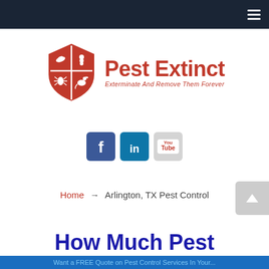Navigation bar with hamburger menu
[Figure (logo): Pest Extinct logo: red shield with pest silhouettes, red bold text 'Pest Extinct', tagline 'Exterminate And Remove Them Forever']
[Figure (infographic): Social media icons: Facebook (blue), LinkedIn (teal/blue), YouTube (grey/red)]
Home → Arlington, TX Pest Control
How Much Pest Control Cost In